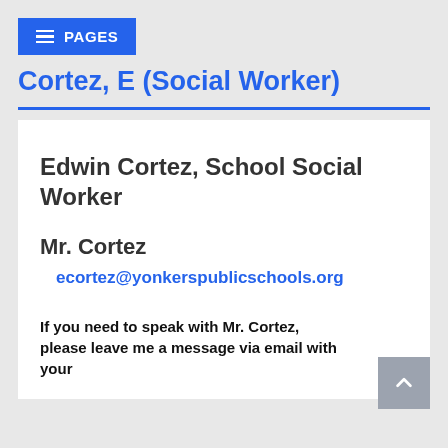PAGES
Cortez, E (Social Worker)
Edwin Cortez, School Social Worker
Mr. Cortez
ecortez@yonkerspublicschools.org
If you need to speak with Mr. Cortez, please leave me a message via email with your